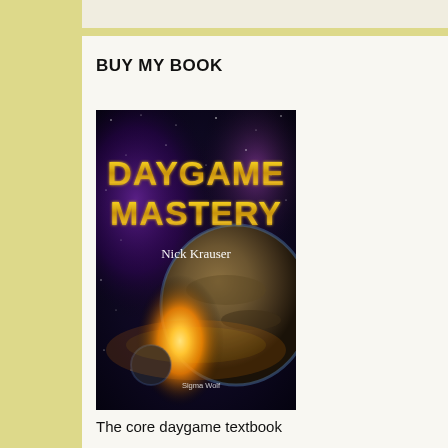BUY MY BOOK
[Figure (illustration): Book cover for 'Daygame Mastery' by Nick Krauser, featuring gold metallic block lettering on a space background with a glowing planet. Published by Sigma Wolf.]
The core daygame textbook